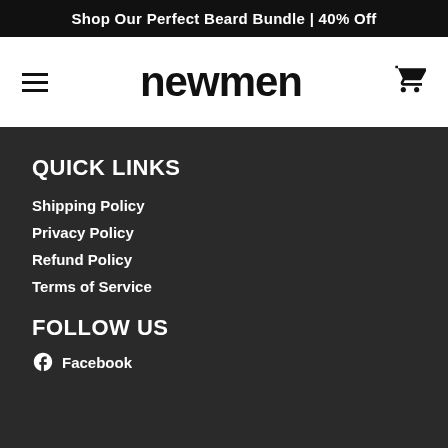Shop Our Perfect Beard Bundle | 40% Off
[Figure (logo): newmen brand logo with hamburger menu icon on the left and shopping cart icon on the right]
QUICK LINKS
Shipping Policy
Privacy Policy
Refund Policy
Terms of Service
FOLLOW US
Facebook